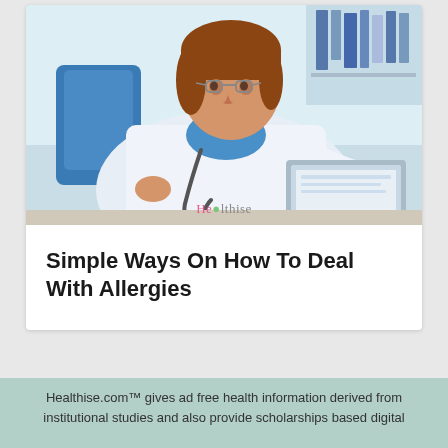[Figure (photo): Female doctor in white lab coat and stethoscope, wearing glasses, sitting at a desk working on a laptop computer, viewed from above in a medical office setting]
Simple Ways On How To Deal With Allergies
Healthise.com™ gives ad free health information derived from institutional studies and also provide scholarships based digital